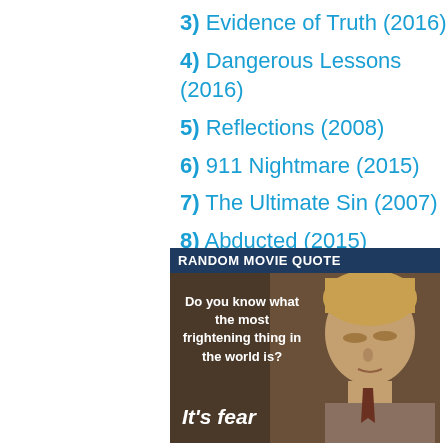3) Evidence of Truth (2016)
4) Dangerous Lessons (2016)
5) Reflections (2008)
6) 911 Nightmare (2015)
7) The Ultimate Sin (2007)
8) Abducted (2015)
9) The Promise (1999)
10) The Other Mother (2017)
[Figure (photo): Movie quote image with header 'RANDOM MOVIE QUOTE' showing a young man with text: 'Do you know what the most frightening thing in the world is? It's fear']